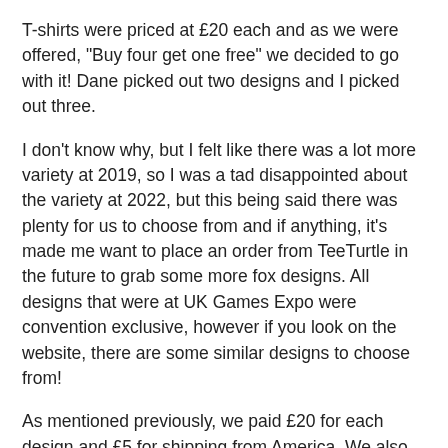T-shirts were priced at £20 each and as we were offered, "Buy four get one free" we decided to go with it! Dane picked out two designs and I picked out three.
I don't know why, but I felt like there was a lot more variety at 2019, so I was a tad disappointed about the variety at 2022, but this being said there was plenty for us to choose from and if anything, it's made me want to place an order from TeeTurtle in the future to grab some more fox designs. All designs that were at UK Games Expo were convention exclusive, however if you look on the website, there are some similar designs to choose from!
As mentioned previously, we paid £20 for each design and £5 for shipping from America. We also bought all t-shirts in a men's size L, which is probably a little too big for me, but that being said I love my baggy t-shirts!
The t-shirts that TeeTurtle use are amazing quality, which feel really soft when worn and are very comfortable due to that. I highly recommend